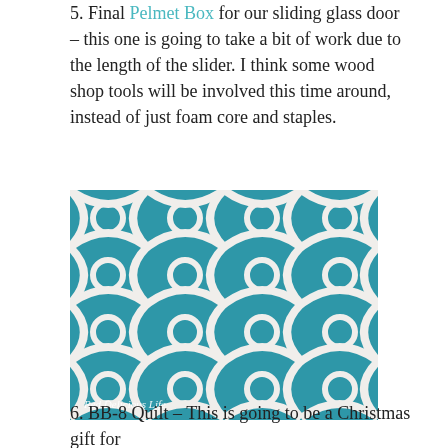5. Final Pelmet Box for our sliding glass door – this one is going to take a bit of work due to the length of the slider. I think some wood shop tools will be involved this time around, instead of just foam core and staples.
[Figure (photo): A folded piece of teal/turquoise fabric with a white geometric Moroccan-style lattice pattern, photographed on a grey background. Watermark reads 'Red Delicious Life'.]
6. BB-8 Quilt – This is going to be a Christmas gift for